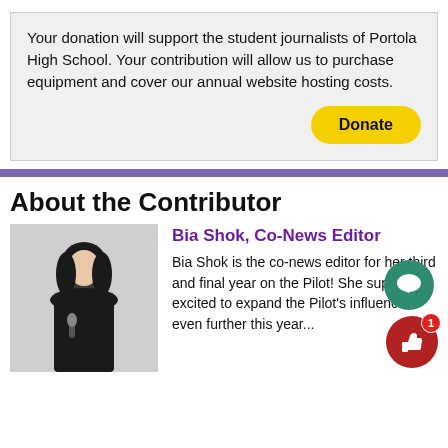Your donation will support the student journalists of Portola High School. Your contribution will allow us to purchase equipment and cover our annual website hosting costs.
Donate
About the Contributor
[Figure (photo): Photo of Bia Shok, a young woman with long dark hair holding a microphone, wearing a black t-shirt, standing in front of a light-colored wall.]
Bia Shok, Co-News Editor
Bia Shok is the co-news editor for her third and final year on the Pilot! She super excited to expand the Pilot's influence even further this year...